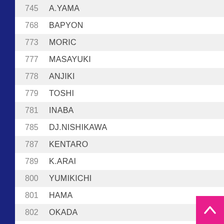745  A.YAMA
768  BAPYON
773  MORIC
777  MASAYUKI
778  ANJIKI
779  TOSHI
781  INABA
785  DJ.NISHIKAWA
787  KENTARO
789  K.ARAI
800  YUMIKICHI
801  HAMA
802  OKADA